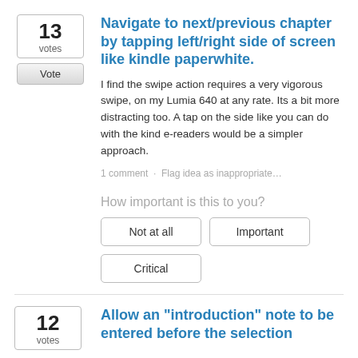Navigate to next/previous chapter by tapping left/right side of screen like kindle paperwhite.
I find the swipe action requires a very vigorous swipe, on my Lumia 640 at any rate. Its a bit more distracting too. A tap on the side like you can do with the kind e-readers would be a simpler approach.
1 comment · Flag idea as inappropriate…
How important is this to you?
Not at all
Important
Critical
Allow an "introduction" note to be entered before the selection